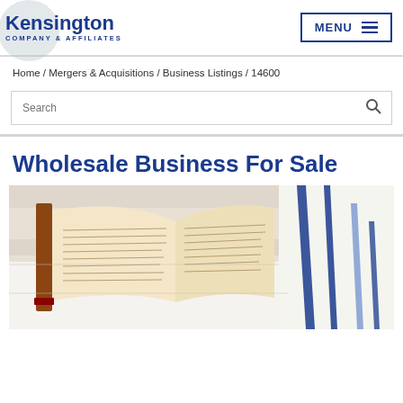[Figure (logo): Kensington Company & Affiliates logo with blue circular background element and blue text]
Home / Mergers & Acquisitions / Business Listings / 14600
Search
Wholesale Business For Sale
[Figure (photo): Open book with Hebrew script and a white tallit (prayer shawl) with blue stripes on a white wooden surface]